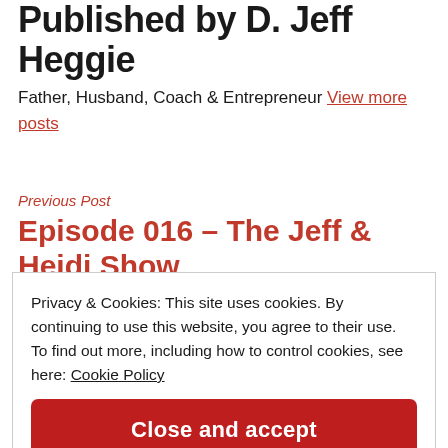Published by D. Jeff Heggie
Father, Husband, Coach & Entrepreneur View more posts
Previous Post
Episode 016 – The Jeff & Heidi Show
Privacy & Cookies: This site uses cookies. By continuing to use this website, you agree to their use. To find out more, including how to control cookies, see here: Cookie Policy
Close and accept